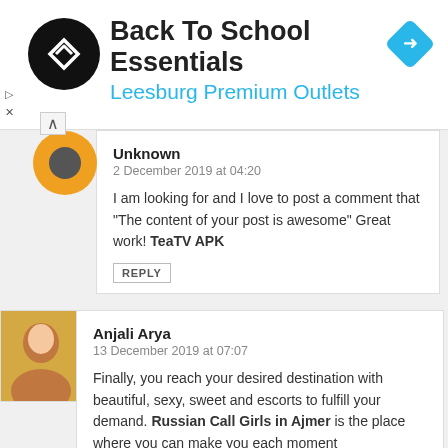[Figure (logo): Ad banner: Back To School Essentials - Leesburg Premium Outlets. Black circular logo with arrow/chevron symbol, blue navigation diamond icon on right. Play and close controls on left.]
Unknown
2 December 2019 at 04:20

I am looking for and I love to post a comment that "The content of your post is awesome" Great work! TeaTV APK

REPLY
Anjali Arya
13 December 2019 at 07:07

Finally, you reach your desired destination with beautiful, sexy, sweet and escorts to fulfill your demand. Russian Call Girls in Ajmer is the place where you can make you each moment